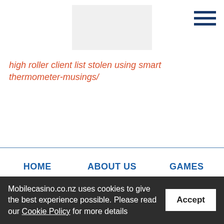[Figure (other): Logo placeholder image, light gray rectangle]
[Figure (other): Hamburger menu icon with three dark blue horizontal lines]
high roller client list stolen using smart thermometer-musings/
PLAY NOW
HOME
ABOUT US
GAMES
POKIES
BLACKJACK
ROULETTE
PRIVACY POLICY
COOKIE POLICY
Mobilecasino.co.nz uses cookies to give the best experience possible. Please read our Cookie Policy for more details